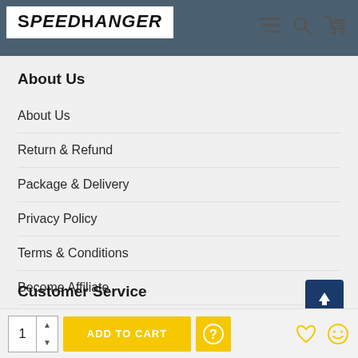SpeedHanger
About Us
About Us
Return & Refund
Package & Delivery
Privacy Policy
Terms & Conditions
Become Affiliate
Customer Service